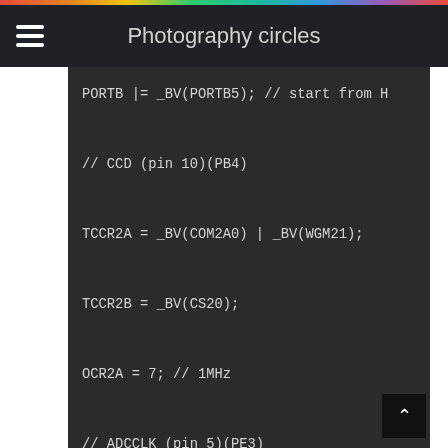Photography circles
PORTB |= _BV(PORTB5);  // start from H

// CCD (pin 10)(PB4)

TCCR2A = _BV(COM2A0) | _BV(WGM21);

TCCR2B = _BV(CS20);

OCR2A = 7;  // 1MHz

// ADCCLK (pin 5)(PE3)

TCCR3A = _BV(COM3A0);

TCCR3B = _BV(WGM32) | _BV(CS30);

OCR3A = 3;  // 2MHz